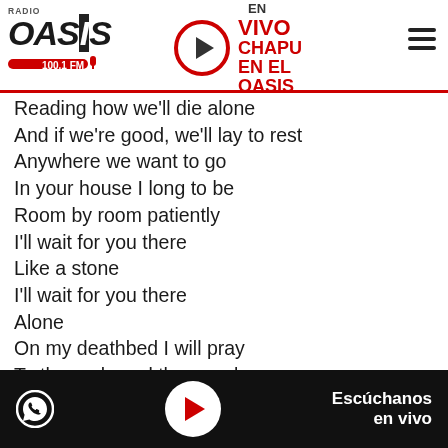Radio OASIS 100.1 FM — EN VIVO CHAPU EN EL OASIS
Reading how we'll die alone
And if we're good, we'll lay to rest
Anywhere we want to go
In your house I long to be
Room by room patiently
I'll wait for you there
Like a stone
I'll wait for you there
Alone
On my deathbed I will pray
To the gods and the angels
Like a pagan to anyone
Who will take me to heaven
To a place I recall
I was there so long ago
Escúchanos en vivo